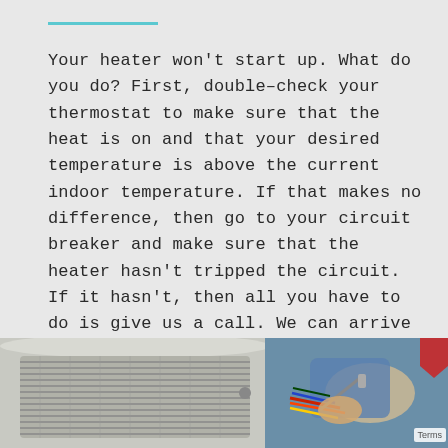Your heater won't start up. What do you do? First, double–check your thermostat to make sure that the heat is on and that your desired temperature is above the current indoor temperature. If that makes no difference, then go to your circuit breaker and make sure that the heater hasn't tripped the circuit. If it hasn't, then all you have to do is give us a call. We can arrive promptly and restore your heating system with our effective heat repair services.
[Figure (photo): A technician working on an HVAC/air conditioning unit outdoors. On the left is a large white air conditioning condenser unit with visible grill fins. On the right, a person in a blue shirt is using a screwdriver or tool on internal wiring/components of the unit.]